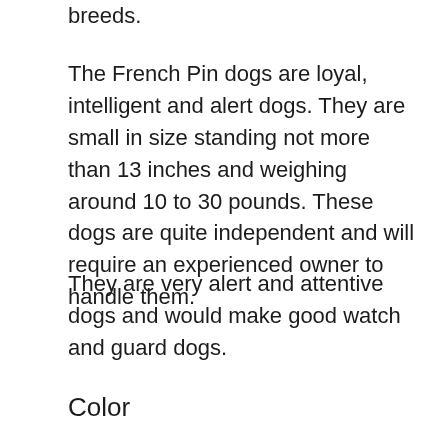breeds.
The French Pin dogs are loyal, intelligent and alert dogs. They are small in size standing not more than 13 inches and weighing around 10 to 30 pounds. These dogs are quite independent and will require an experienced owner to handle them.
They are very alert and attentive dogs and would make good watch and guard dogs.
Color